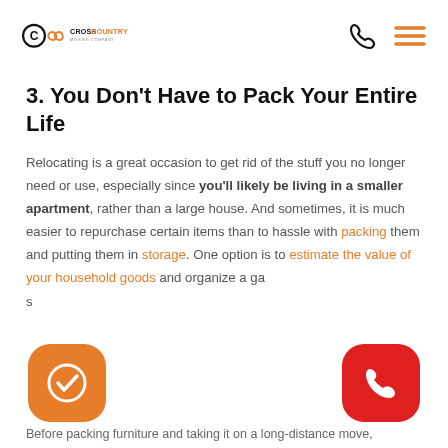CrossCountry Moving Company
3. You Don't Have to Pack Your Entire Life
Relocating is a great occasion to get rid of the stuff you no longer need or use, especially since you'll likely be living in a smaller apartment, rather than a large house. And sometimes, it is much easier to repurchase certain items than to hassle with packing them and putting them in storage. One option is to estimate the value of your household goods and organize a garage sale...